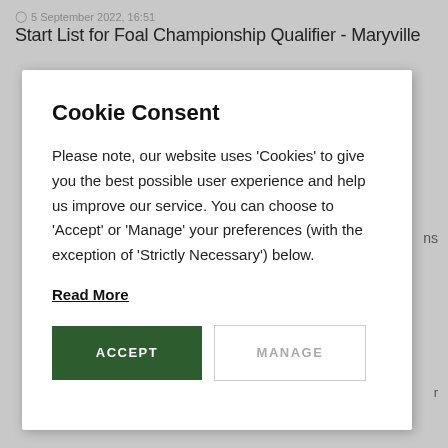5 September 2022, 16:51
Start List for Foal Championship Qualifier - Maryville
Cookie Consent
Please note, our website uses 'Cookies' to give you the best possible user experience and help us improve our service. You can choose to 'Accept' or 'Manage' your preferences (with the exception of 'Strictly Necessary') below.
Read More